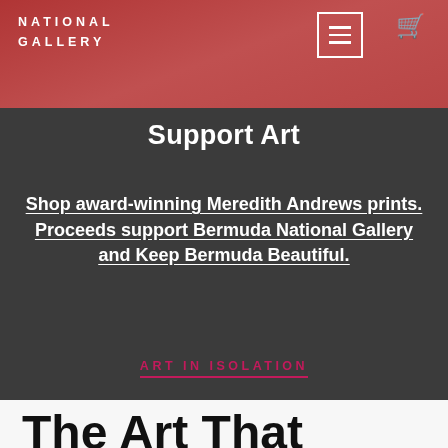NATIONAL GALLERY
Support Art
Shop award-winning Meredith Andrews prints. Proceeds support Bermuda National Gallery and Keep Bermuda Beautiful.
ART IN ISOLATION
The Art That Sustains Us